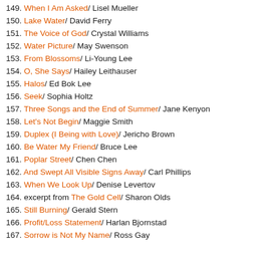149. When I Am Asked/ Lisel Mueller
150. Lake Water/ David Ferry
151. The Voice of God/ Crystal Williams
152. Water Picture/ May Swenson
153. From Blossoms/ Li-Young Lee
154. O, She Says/ Hailey Leithauser
155. Halos/ Ed Bok Lee
156. Seek/ Sophia Holtz
157. Three Songs and the End of Summer/ Jane Kenyon
158. Let's Not Begin/ Maggie Smith
159. Duplex (I Being with Love)/ Jericho Brown
160. Be Water My Friend/ Bruce Lee
161. Poplar Street/ Chen Chen
162. And Swept All Visible Signs Away/ Carl Phillips
163. When We Look Up/ Denise Levertov
164. excerpt from The Gold Cell/ Sharon Olds
165. Still Burning/ Gerald Stern
166. Profit/Loss Statement/ Harlan Bjornstad
167. Sorrow is Not My Name/ Ross Gay